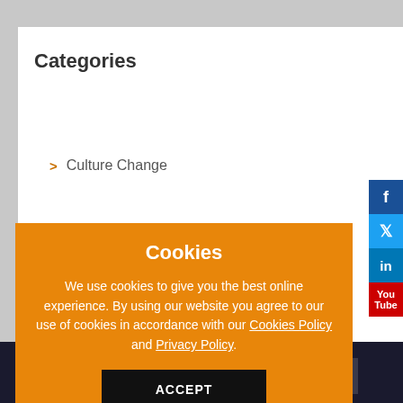Categories
Culture Change
Cookies
We use cookies to give you the best online experience. By using our website you agree to our use of cookies in accordance with our Cookies Policy and Privacy Policy.
ACCEPT
Rights Reserved